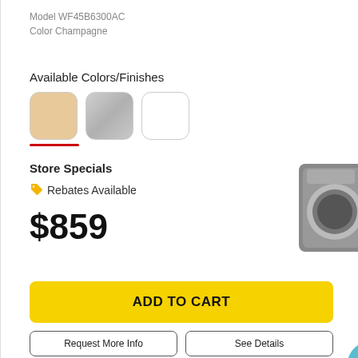Model WF45B6300AC
Color Champagne
Available Colors/Finishes
[Figure (other): Three color swatches: Champagne (beige/tan), Silver (gray), White, with red underline below Champagne swatch indicating selected color]
Store Specials
Rebates Available
$859
ADD TO CART
Request More Info
See Details
[Figure (photo): Partial image of a front-load washing machine (gray) with a teal 'Take the Quiz' circle button overlay]